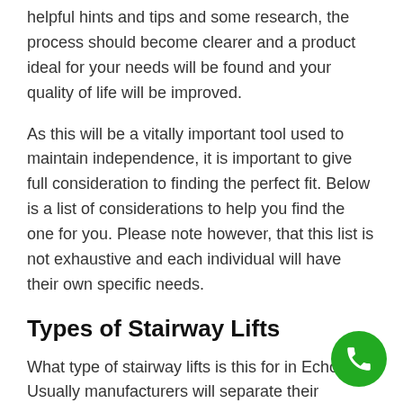helpful hints and tips and some research, the process should become clearer and a product ideal for your needs will be found and your quality of life will be improved.
As this will be a vitally important tool used to maintain independence, it is important to give full consideration to finding the perfect fit. Below is a list of considerations to help you find the one for you. Please note however, that this list is not exhaustive and each individual will have their own specific needs.
Types of Stairway Lifts
What type of stairway lifts is this for in Echo... Usually manufacturers will separate their products into straight stairlift and curved stai...